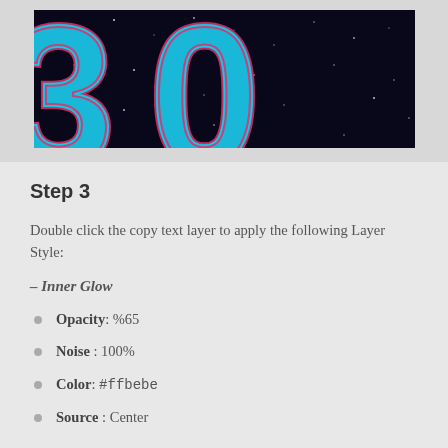[Figure (screenshot): A screenshot showing large bold 3D-style text '300' (only the '30' portion visible) rendered in bright cyan/blue with pink-red inner glow outlines on a dark starry space background. The letters have a metallic neon aesthetic.]
Step 3
Double click the copy text layer to apply the following Layer Style:
– Inner Glow
Opacity: %65
Noise: 100%
Color:  #ffbebe
Source: Center